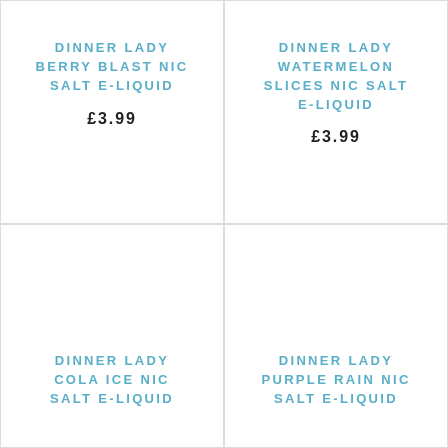DINNER LADY BERRY BLAST NIC SALT E-LIQUID
£3.99
DINNER LADY WATERMELON SLICES NIC SALT E-LIQUID
£3.99
DINNER LADY COLA ICE NIC SALT E-LIQUID
DINNER LADY PURPLE RAIN NIC SALT E-LIQUID